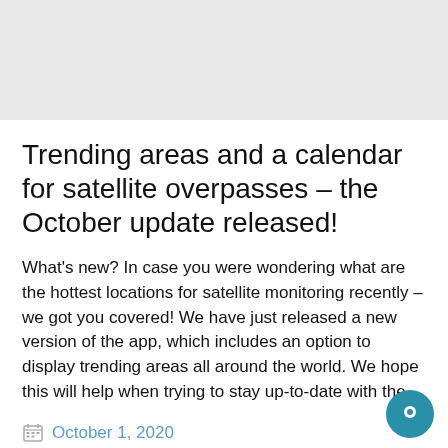[Figure (other): Gray banner/header area at top of page]
Trending areas and a calendar for satellite overpasses – the October update released!
What's new? In case you were wondering what are the hottest locations for satellite monitoring recently – we got you covered! We have just released a new version of the app, which includes an option to display trending areas all around the world. We hope this will help when trying to stay up-to-date with the...
October 1, 2020